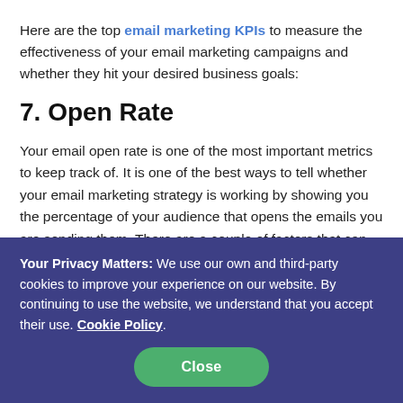Here are the top email marketing KPIs to measure the effectiveness of your email marketing campaigns and whether they hit your desired business goals:
7. Open Rate
Your email open rate is one of the most important metrics to keep track of. It is one of the best ways to tell whether your email marketing strategy is working by showing you the percentage of your audience that opens the emails you are sending them. There are a couple of factors that can affect your open rates such as the subject line and the
Your Privacy Matters: We use our own and third-party cookies to improve your experience on our website. By continuing to use the website, we understand that you accept their use. Cookie Policy.